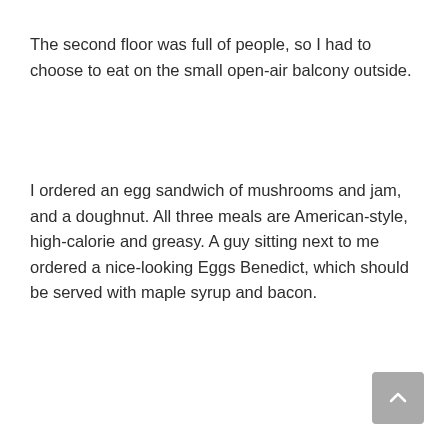The second floor was full of people, so I had to choose to eat on the small open-air balcony outside.
I ordered an egg sandwich of mushrooms and jam, and a doughnut. All three meals are American-style, high-calorie and greasy. A guy sitting next to me ordered a nice-looking Eggs Benedict, which should be served with maple syrup and bacon.